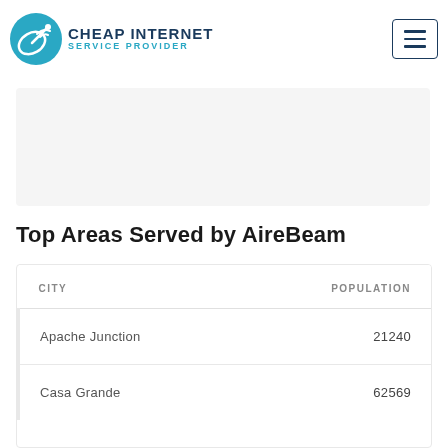[Figure (logo): Cheap Internet Service Provider logo with teal/blue satellite dish icon and text]
AireBeam offers service in 29 zip codes nationwide
Top Areas Served by AireBeam
| CITY | POPULATION |
| --- | --- |
| Apache Junction | 21240 |
| Casa Grande | 62569 |